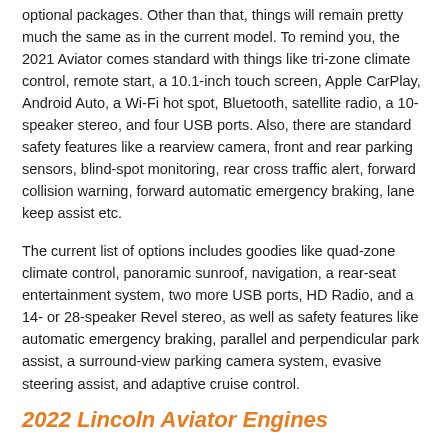optional packages. Other than that, things will remain pretty much the same as in the current model. To remind you, the 2021 Aviator comes standard with things like tri-zone climate control, remote start, a 10.1-inch touch screen, Apple CarPlay, Android Auto, a Wi-Fi hot spot, Bluetooth, satellite radio, a 10-speaker stereo, and four USB ports. Also, there are standard safety features like a rearview camera, front and rear parking sensors, blind-spot monitoring, rear cross traffic alert, forward collision warning, forward automatic emergency braking, lane keep assist etc.
The current list of options includes goodies like quad-zone climate control, panoramic sunroof, navigation, a rear-seat entertainment system, two more USB ports, HD Radio, and a 14- or 28-speaker Revel stereo, as well as safety features like automatic emergency braking, parallel and perpendicular park assist, a surround-view parking camera system, evasive steering assist, and adaptive cruise control.
2022 Lincoln Aviator Engines